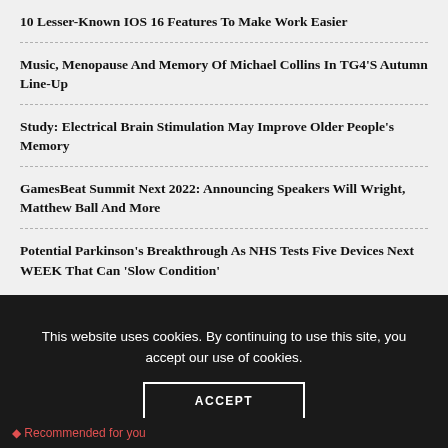10 Lesser-Known IOS 16 Features To Make Work Easier
Music, Menopause And Memory Of Michael Collins In TG4'S Autumn Line-Up
Study: Electrical Brain Stimulation May Improve Older People's Memory
GamesBeat Summit Next 2022: Announcing Speakers Will Wright, Matthew Ball And More
Potential Parkinson's Breakthrough As NHS Tests Five Devices Next WEEK That Can 'Slow Condition'
This website uses cookies. By continuing to use this site, you accept our use of cookies.
ACCEPT
Recommended for you